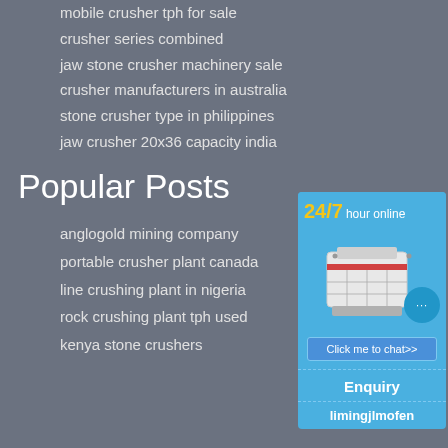mobile crusher tph for sale
crusher series combined
jaw stone crusher machinery sale
crusher manufacturers in australia
stone crusher type in philippines
jaw crusher 20x36 capacity india
Popular Posts
anglogold mining company
portable crusher plant canada
line crushing plant in nigeria
rock crushing plant tph used
kenya stone crushers
[Figure (infographic): Blue banner widget showing '24/7 hour online' text, an image of a crusher machine, a chat bubble icon with ellipsis, a 'Click me to chat>>' button, an 'Enquiry' section, and 'limingjlmofen' text at the bottom.]